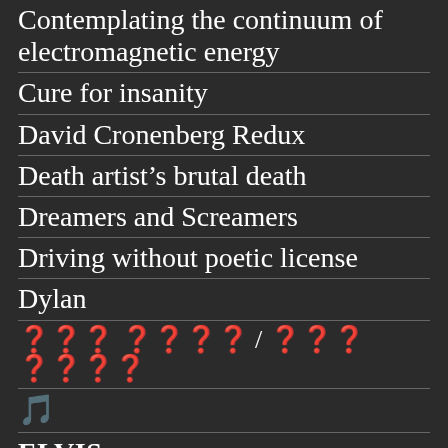Contemplating the continuum of electromagnetic energy
Cure for insanity
David Cronenberg Redux
Death artist's brutal death
Dreamers and Screamers
Driving without poetic license
Dylan
??? ???? / ??? ????
🎵
ELVIS
Elvis's grandson was a troubled young man
First, you've got to get mad